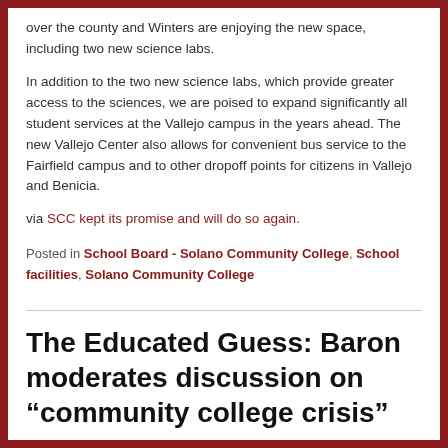over the county and Winters are enjoying the new space, including two new science labs.
In addition to the two new science labs, which provide greater access to the sciences, we are poised to expand significantly all student services at the Vallejo campus in the years ahead. The new Vallejo Center also allows for convenient bus service to the Fairfield campus and to other dropoff points for citizens in Vallejo and Benicia.
via SCC kept its promise and will do so again.
Posted in School Board - Solano Community College, School facilities, Solano Community College
The Educated Guess: Baron moderates discussion on “community college crisis”